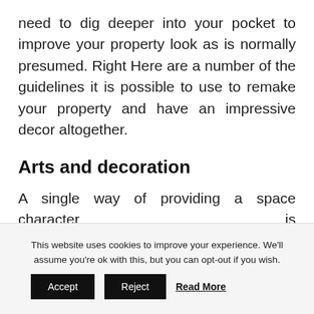need to dig deeper into your pocket to improve your property look as is normally presumed. Right Here are a number of the guidelines it is possible to use to remake your property and have an impressive decor altogether.
Arts and decoration
A single way of providing a space character is utilizing decorations and art forms. Decorations can take numerous elements as well as be done in numerous places. You may
This website uses cookies to improve your experience. We'll assume you're ok with this, but you can opt-out if you wish. Accept Reject Read More